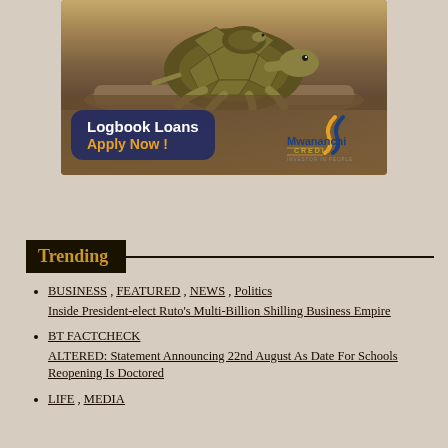[Figure (illustration): Advertisement banner for Mwananchi Credit featuring a tortoise on a log, with text 'Logbook Loans Apply Now!' and the Mwananchi Credit logo with tagline 'INVESTOR IN PEOPLE']
Trending
BUSINESS , FEATURED , NEWS , Politics
Inside President-elect Ruto's Multi-Billion Shilling Business Empire
BT FACTCHECK
ALTERED: Statement Announcing 22nd August As Date For Schools Reopening Is Doctored
LIFE , MEDIA